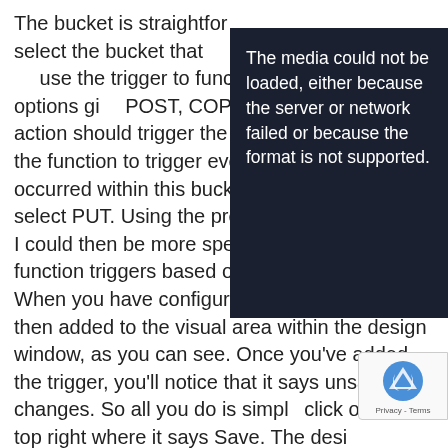The bucket is straightforward, I simply need to select the bucket that … event type shows the … use the trigger to func… a number of options gi… POST, COPY, et cetera… action should trigger the function. If I wanted the function to trigger every time a PUT action occurred within this bucket, then I could simply select PUT. Using the prefix and suffix options, I could then be more specific when the function triggers based off of these values. When you have configured your trigger it is then added to the visual area within the design window, as you can see. Once you've added the trigger, you'll notice that it says unsaved changes. So all you do is simply click on the top right where it says Save. The design window allows you to understand how the function operates in a simple visual graphic. The name of the
[Figure (screenshot): A dark overlay box showing an error message: 'The media could not be loaded, either because the server or network failed or because the format is not supported.' with a partially visible background logo/watermark text 'COMPUTE'.]